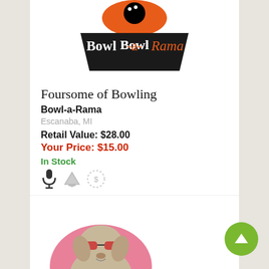[Figure (logo): Bowl-a-Rama logo with orange bowling ball and black trapezoid shape with white and orange text]
Foursome of Bowling
Bowl-a-Rama
Escanaba, MI
Retail Value: $28.00
Your Price: $15.00
In Stock
[Figure (illustration): Illustration of a dog wearing sunglasses sitting on a pink background]
Nails or Glands Certificate
Pooch Parlor
Escanaba, MI